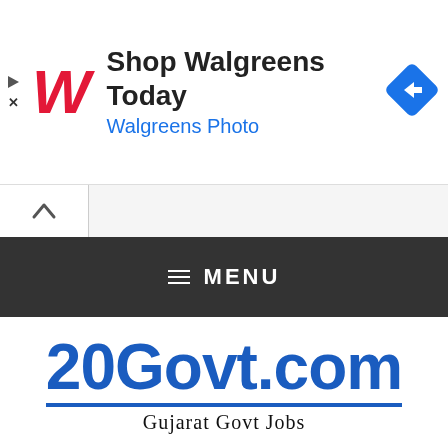[Figure (screenshot): Walgreens advertisement banner with red italic W logo, text 'Shop Walgreens Today' and 'Walgreens Photo' in blue, and a blue diamond navigation icon on the right]
[Figure (screenshot): Browser scroll tab bar with an up-caret chevron tab on white background]
[Figure (screenshot): Dark gray navigation menu bar with hamburger icon and MENU text in white]
[Figure (logo): 20Govt.com logo in bold blue italic text with underline, and 'Gujarat Govt Jobs' subtitle in serif font]